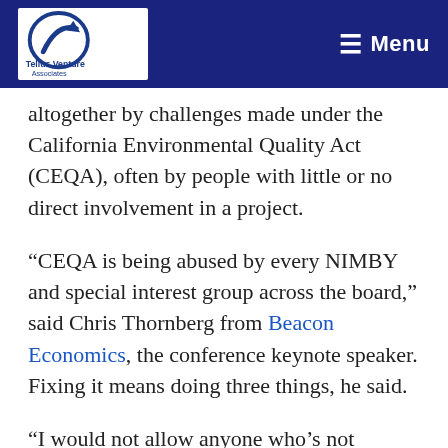Tellus Venture Associates | Menu
altogether by challenges made under the California Environmental Quality Act (CEQA), often by people with little or no direct involvement in a project.
“CEQA is being abused by every NIMBY and special interest group across the board,” said Chris Thornberg from Beacon Economics, the conference keynote speaker. Fixing it means doing three things, he said.
“I would not allow anyone who’s not involved to use it,” Thornberg said. “Unions should